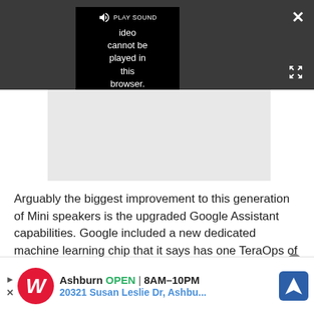[Figure (screenshot): Video player overlay on dark gray background showing error message: 'Video cannot be played in this browser. (Error Cod' with speaker/PLAY SOUND control. Close X button top right, expand arrows bottom right.]
[Figure (screenshot): Gray rectangle placeholder area below video player.]
Arguably the biggest improvement to this generation of Mini speakers is the upgraded Google Assistant capabilities. Google included a new dedicated machine learning chip that it says has one TeraOps of
[Figure (screenshot): Advertisement banner: Walgreens logo, 'Ashburn OPEN 8AM-10PM 20321 Susan Leslie Dr, Ashbu...' with navigation icon.]